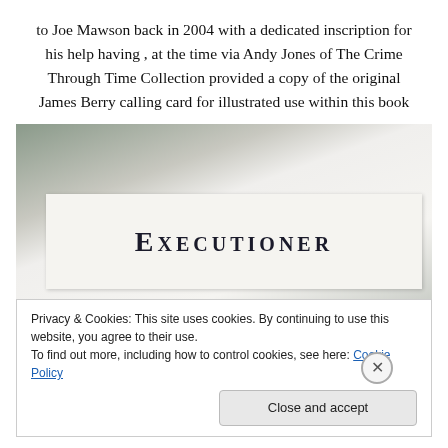to Joe Mawson back in 2004 with a dedicated inscription for his help having , at the time via Andy Jones of The Crime Through Time Collection provided a copy of the original James Berry calling card for illustrated use within this book
[Figure (photo): Photograph of a book page or card showing the word EXECUTIONER in large serif small-caps bold font, on a white/cream background with dark marbled book cover visible at top.]
Privacy & Cookies: This site uses cookies. By continuing to use this website, you agree to their use.
To find out more, including how to control cookies, see here: Cookie Policy